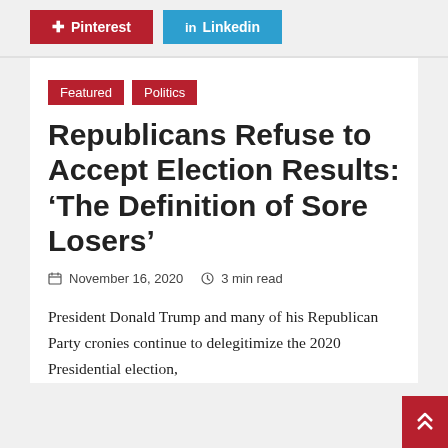Pinterest  Linkedin
Featured
Politics
Republicans Refuse to Accept Election Results: ‘The Definition of Sore Losers’
November 16, 2020  3 min read
President Donald Trump and many of his Republican Party cronies continue to delegitimize the 2020 Presidential election,